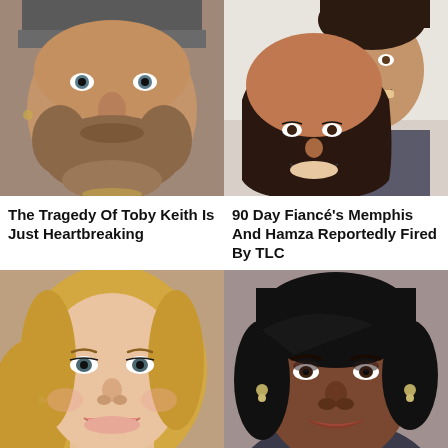[Figure (photo): Close-up photo of Toby Keith smiling, man with beard and beanie hat]
[Figure (photo): Couple selfie photo of Memphis and Hamza from 90 Day Fiancé, man and woman smiling]
The Tragedy Of Toby Keith Is Just Heartbreaking
90 Day Fiancé's Memphis And Hamza Reportedly Fired By TLC
[Figure (photo): Portrait photo of Blake Lively, blonde woman smiling]
[Figure (photo): Portrait photo of Michelle Obama, woman with short black hair]
Blake Lively Says The...
Michelle Has Now...